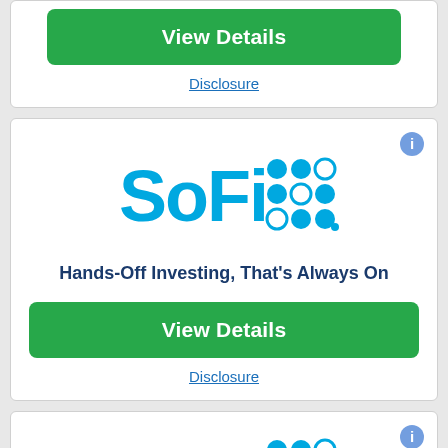[Figure (logo): Green 'View Details' button at top of page (partial card)]
Disclosure
[Figure (logo): SoFi logo with colorful grid of circles]
Hands-Off Investing, That's Always On
[Figure (logo): Green 'View Details' button]
Disclosure
[Figure (logo): SoFi logo at bottom partial card]